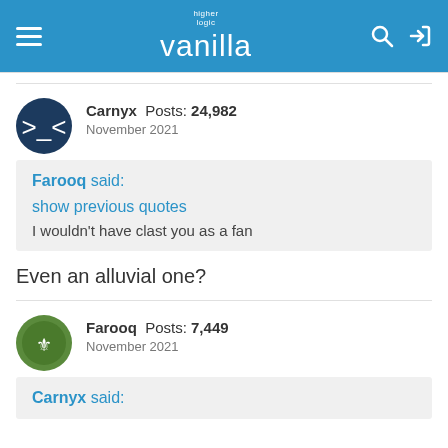higher logic vanilla
Carnyx  Posts: 24,982  November 2021
Farooq said:
show previous quotes
I wouldn't have clast you as a fan
Even an alluvial one?
Farooq  Posts: 7,449  November 2021
Carnyx said: